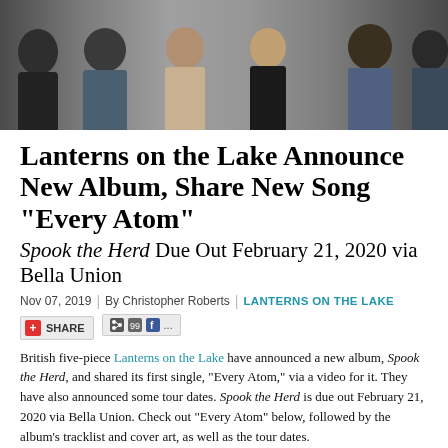[Figure (photo): Band photo of British five-piece Lanterns on the Lake, five members posed against a grey background, seen from the shoulders up, facing various directions]
Lanterns on the Lake Announce New Album, Share New Song “Every Atom”
Spook the Herd Due Out February 21, 2020 via Bella Union
Nov 07, 2019  |  By Christopher Roberts  |  LANTERNS ON THE LAKE
[Figure (other): Share button and social media icons (share button with red cross icon, social share icons including Facebook)]
British five-piece Lanterns on the Lake have announced a new album, Spook the Herd, and shared its first single, “Every Atom,” via a video for it. They have also announced some tour dates. Spook the Herd is due out February 21, 2020 via Bella Union. Check out “Every Atom” below, followed by the album’s tracklist and cover art, as well as the tour dates.
Spook the Herd is the band’s fourth album, and will be released around four